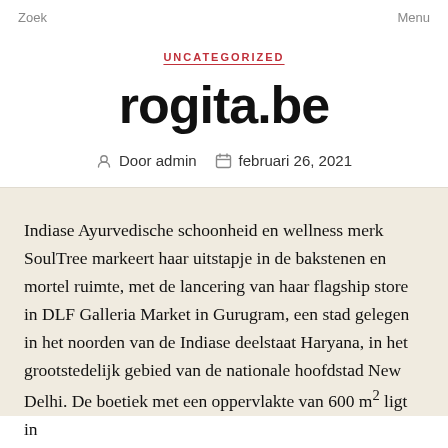Zoek    Menu
UNCATEGORIZED
rogita.be
Door admin    februari 26, 2021
Indiase Ayurvedische schoonheid en wellness merk SoulTree markeert haar uitstapje in de bakstenen en mortel ruimte, met de lancering van haar flagship store in DLF Galleria Market in Gurugram, een stad gelegen in het noorden van de Indiase deelstaat Haryana, in het grootstedelijk gebied van de nationale hoofdstad New Delhi. De boetiek met een oppervlakte van 600 m² ligt in